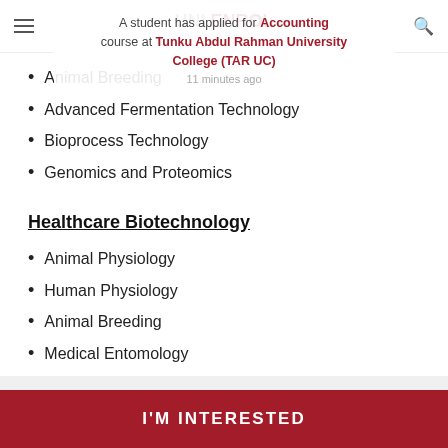UNI ENROL — Be who you want to be
A student has applied for Accounting course at Tunku Abdul Rahman University College (TAR UC). 11 minutes ago
Animal Breeding
Advanced Fermentation Technology
Bioprocess Technology
Genomics and Proteomics
Healthcare Biotechnology
Animal Physiology
Human Physiology
Animal Breeding
Medical Entomology
Advanced  Immunology and Immunogenetics
Genomics and Proteomics